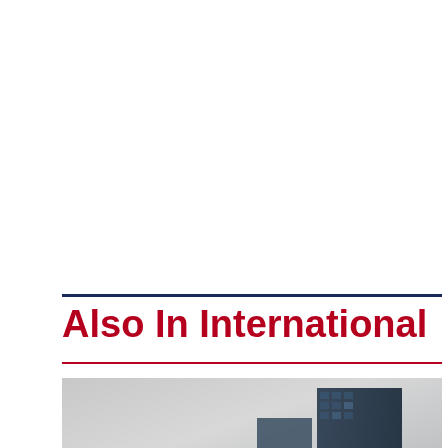Also In International
[Figure (photo): Photograph of glass skyscraper and geometric pyramid structure on a grey background, partially visible at bottom of page]